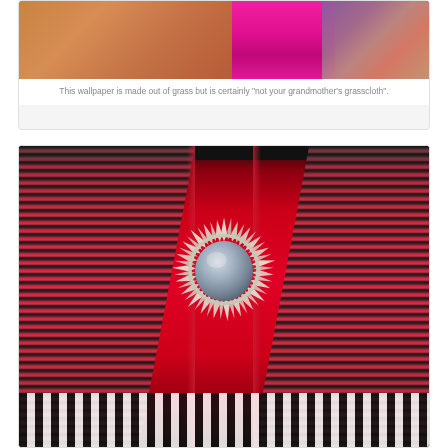[Figure (photo): Photo of colorful wallpaper or fabric samples in pink and multicolor tones, grasscloth display]
This wallpaper is made out of grass but is certainly "not your grandmother's grasscloth".
[Figure (photo): Room interior with red wall, decorative patterned curtains in black/white/red, and a large sunburst mirror in the center]